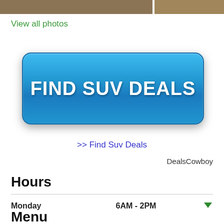[Figure (photo): Two food/restaurant photos displayed as a horizontal strip at the top of the page]
View all photos
[Figure (other): Large blue rounded button with white bold text reading FIND SUV DEALS]
>> Find Suv Deals
DealsCowboy
Hours
Monday   6AM - 2PM
Menu